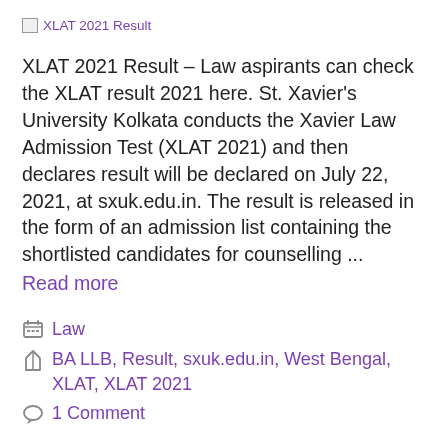[Figure (other): Broken image placeholder with link text 'XLAT 2021 Result']
XLAT 2021 Result – Law aspirants can check the XLAT result 2021 here. St. Xavier's University Kolkata conducts the Xavier Law Admission Test (XLAT 2021) and then declares result will be declared on July 22, 2021, at sxuk.edu.in. The result is released in the form of an admission list containing the shortlisted candidates for counselling ... Read more
Law
BA LLB, Result, sxuk.edu.in, West Bengal, XLAT, XLAT 2021
1 Comment